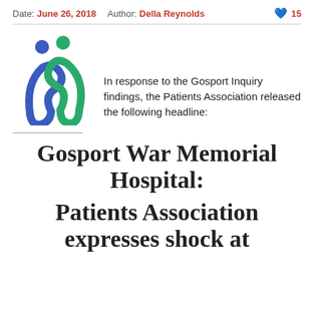Date: June 26, 2018  Author: Della Reynolds  💬 15
[Figure (logo): Patients Association logo: two stylized figures forming a heart shape, one blue and one green]
In response to the Gosport Inquiry findings, the Patients Association released the following headline:
Gosport War Memorial Hospital: Patients Association expresses shock at